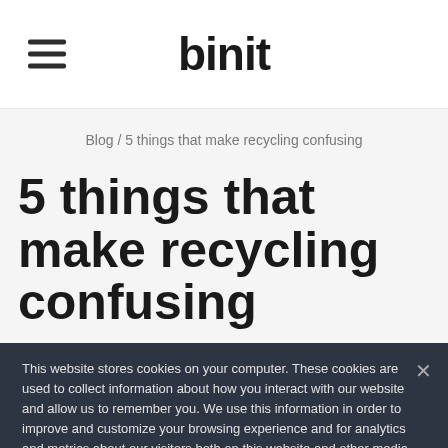binit
Blog / 5 things that make recycling confusing
5 things that make recycling confusing
This website stores cookies on your computer. These cookies are used to collect information about how you interact with our website and allow us to remember you. We use this information in order to improve and customize your browsing experience and for analytics and metrics about our visitors both on this website and other media. To find out more about the cookies we use, see our Privacy Policy.